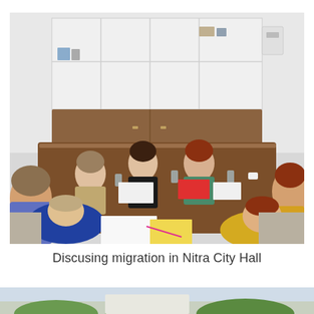[Figure (photo): A group of women seated around a large brown conference table in a meeting room, discussing migration. Bookshelves line the back wall. Papers, notebooks, glasses of water and cups are on the table.]
Discusing migration in Nitra City Hall
[Figure (photo): Partial bottom strip showing another photo, cropped.]